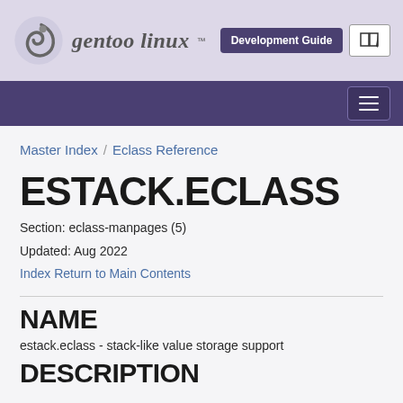gentoo linux Development Guide
Master Index / Eclass Reference
ESTACK.ECLASS
Section: eclass-manpages (5)
Updated: Aug 2022
Index Return to Main Contents
NAME
estack.eclass - stack-like value storage support
DESCRIPTION